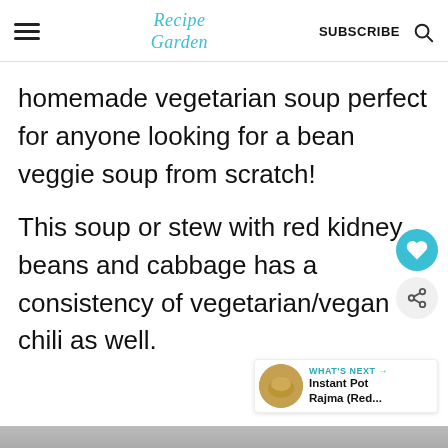Recipe Garden | SUBSCRIBE | [search icon]
homemade vegetarian soup perfect for anyone looking for a bean veggie soup from scratch!
This soup or stew with red kidney beans and cabbage has a consistency of vegetarian/vegan chili as well.
[Figure (other): Bottom edge of a food photograph, partially visible at the bottom of the page]
WHAT'S NEXT → Instant Pot Rajma (Red...